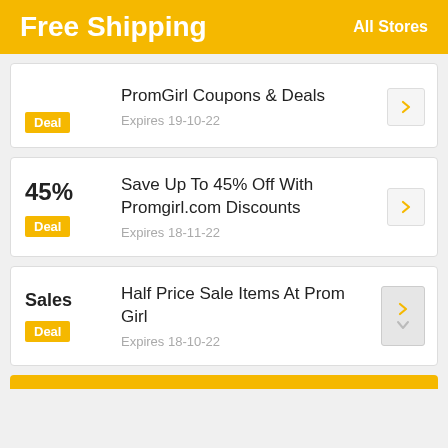Free Shipping    All Stores
PromGirl Coupons & Deals — Deal — Expires 19-10-22
45% — Save Up To 45% Off With Promgirl.com Discounts — Deal — Expires 18-11-22
Sales — Half Price Sale Items At Prom Girl — Deal — Expires 18-10-22